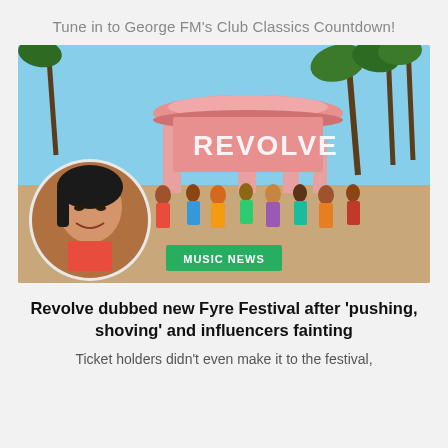Tune in to George FM's Club Classics Countdown!
[Figure (photo): Photo of Revolve Festival entrance with large pink circular structure reading 'REVOLVE', crowd of people, palm trees in background. Circular inset portrait of a young Asian woman looking concerned. Green 'MUSIC NEWS' badge overlaid.]
Revolve dubbed new Fyre Festival after 'pushing, shoving' and influencers fainting
Ticket holders didn't even make it to the festival,